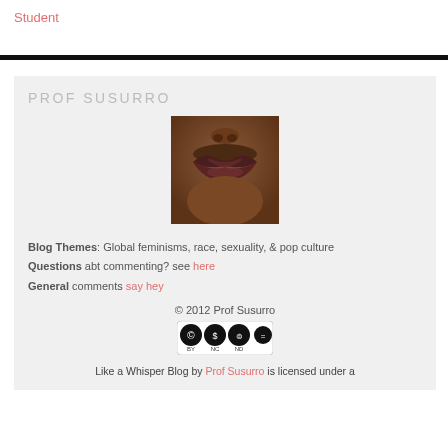Student
PROF SUSURRO
[Figure (photo): Close-up photo of lips of a person with dark skin tone, lips appear dark brownish-red]
Blog Themes: Global feminisms, race, sexuality, & pop culture
Questions abt commenting? see here
General comments say hey
© 2012 Prof Susurro
[Figure (logo): Creative Commons license badge showing BY NC ND icons in black circles]
Like a Whisper Blog by Prof Susurro is licensed under a